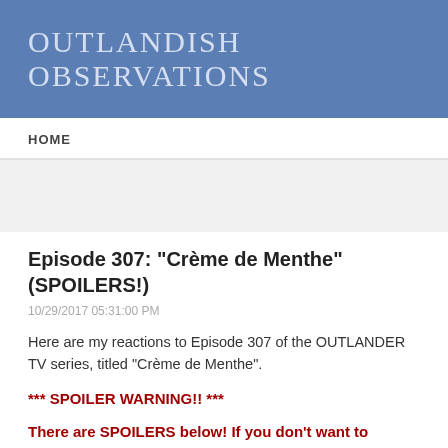OUTLANDISH OBSERVATIONS
HOME
Episode 307: "Crème de Menthe" (SPOILERS!)
10/29/2017 05:31:00 PM
Here are my reactions to Episode 307 of the OUTLANDER TV series, titled "Crème de Menthe".
*** SPOILER WARNING!! ***
There are SPOILERS below! If you don't want to